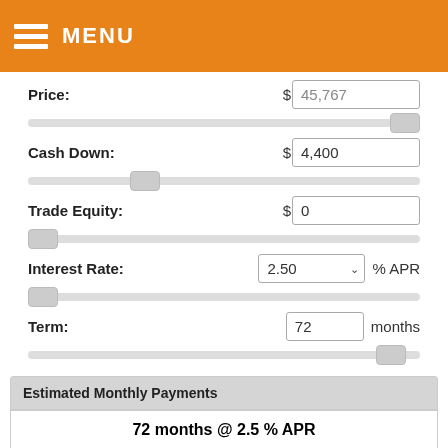MENU
Price: $ 45,767
Cash Down: $ 4,400
Trade Equity: $ 0
Interest Rate: 2.50 % APR
Term: 72 months
Estimated Monthly Payments
72 months @ 2.5 % APR